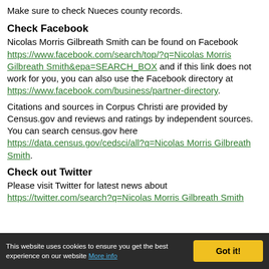Make sure to check Nueces county records.
Check Facebook
Nicolas Morris Gilbreath Smith can be found on Facebook https://www.facebook.com/search/top/?q=Nicolas Morris Gilbreath Smith&epa=SEARCH_BOX and if this link does not work for you, you can also use the Facebook directory at https://www.facebook.com/business/partner-directory.
Citations and sources in Corpus Christi are provided by Census.gov and reviews and ratings by independent sources. You can search census.gov here https://data.census.gov/cedsci/all?q=Nicolas Morris Gilbreath Smith.
Check out Twitter
Please visit Twitter for latest news about https://twitter.com/search?q=Nicolas Morris Gilbreath Smith
This website uses cookies to ensure you get the best experience on our website More info